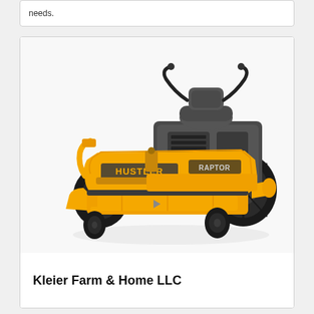needs.
[Figure (photo): A yellow and black Hustler brand zero-turn riding lawn mower photographed on a white background. The mower has large rear tires, a wide front cutting deck, and a gray seat with lap bar controls.]
Kleier Farm & Home LLC